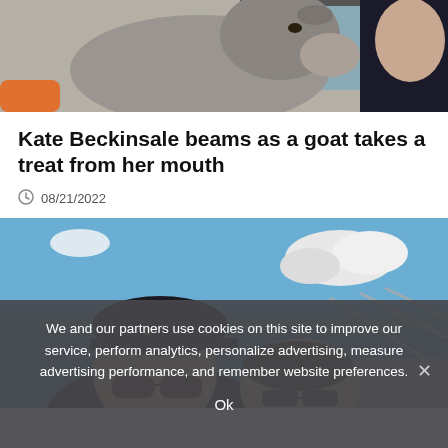[Figure (photo): Top portion of photo showing a goat near a person's face and another person in dark clothing in the background]
Kate Beckinsale beams as a goat takes a treat from her mouth
08/21/2022
[Figure (photo): Two people wearing sunglasses taking a selfie on a boat with blue water and sky in background]
We and our partners use cookies on this site to improve our service, perform analytics, personalize advertising, measure advertising performance, and remember website preferences.
Ok